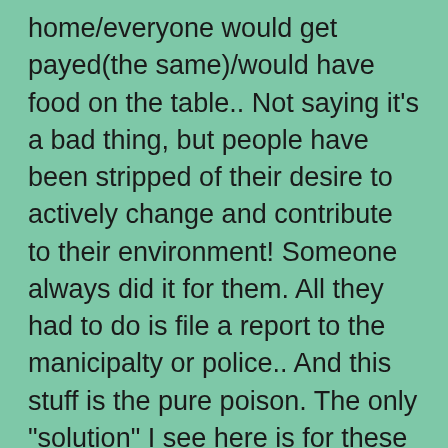home/everyone would get payed(the same)/would have food on the table.. Not saying it's a bad thing, but people have been stripped of their desire to actively change and contribute to their environment! Someone always did it for them. All they had to do is file a report to the manicipalty or police.. And this stuff is the pure poison. The only "solution" I see here is for these generations to perish and MAYBE, just maybe, the generations after that would be able to undo some of the damage and create a more prosperous society than the one we currently have. If that is the hill you want to die on, that's your own personal choice.. I don't see